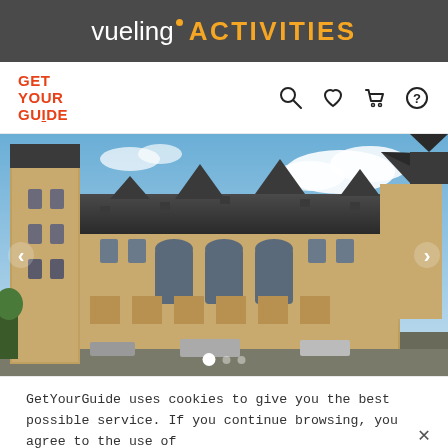vueling ACTIVITIES
[Figure (logo): GetYourGuide logo with search, heart, cart, and help icons in navigation bar]
[Figure (photo): Aerial view of a large historic stone building with dark pointed roofs and a tall tower, under a blue sky with clouds]
GetYourGuide uses cookies to give you the best possible service. If you continue browsing, you agree to the use of